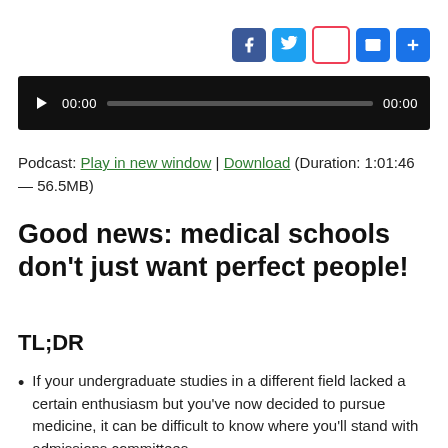[Figure (other): Social media share buttons: Facebook (blue), Twitter (blue), Pocket (red/pink), Email (blue), Add/share (blue)]
[Figure (other): Audio player with play button, 00:00 time left, progress bar, 00:00 time right, black background]
Podcast: Play in new window | Download (Duration: 1:01:46 — 56.5MB)
Good news: medical schools don't just want perfect people!
TL;DR
If your undergraduate studies in a different field lacked a certain enthusiasm but you've now decided to pursue medicine, it can be difficult to know where you'll stand with admissions committees.